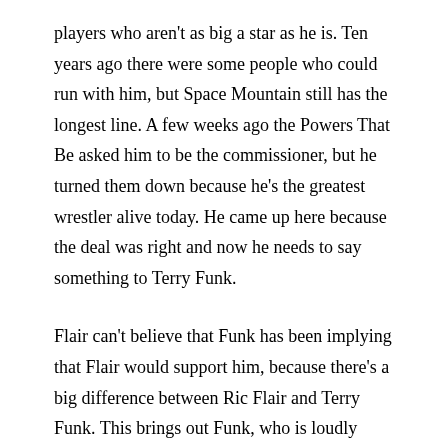players who aren't as big a star as he is. Ten years ago there were some people who could run with him, but Space Mountain still has the longest line. A few weeks ago the Powers That Be asked him to be the commissioner, but he turned them down because he's the greatest wrestler alive today. He came up here because the deal was right and now he needs to say something to Terry Funk.
Flair can't believe that Funk has been implying that Flair would support him, because there's a big difference between Ric Flair and Terry Funk. This brings out Funk, who is loudly booed. He calls Flair banana nosed and horse toothed but praises him for all those World Titles. However, Funk senses some jealousy in Ric's voice. Maybe it comes from Mick Foley saying Flair isn't in Funk's league in his book? STOP PROMOTING OTHER COMPANY'S STUFF!
Anyway, Flair needs to grow up and help in the fight against the